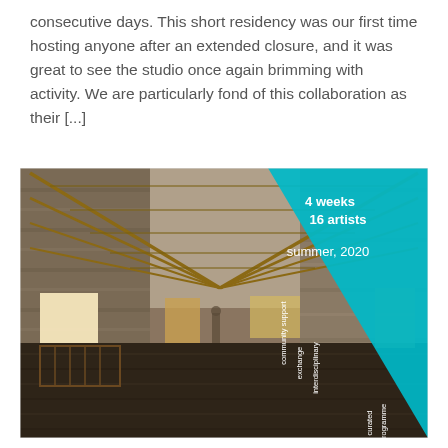consecutive days. This short residency was our first time hosting anyone after an extended closure, and it was great to see the studio once again brimming with activity. We are particularly fond of this collaboration as their [...]
[Figure (photo): Interior of a large stone barn with wooden roof trusses, dark earthen floor, and light coming through windows. A cyan triangular graphic overlay on the right side contains white text reading '4 weeks', '16 artists', 'summer, 2020', and vertical text labels: 'community support', 'exchange', 'interdisciplinary', 'curated programme'.]